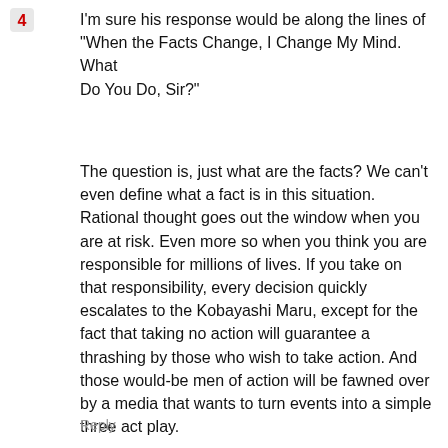[Figure (other): Small red icon or logo in the top-left corner]
I'm sure his response would be along the lines of "When the Facts Change, I Change My Mind. What Do You Do, Sir?"
The question is, just what are the facts? We can't even define what a fact is in this situation. Rational thought goes out the window when you are at risk. Even more so when you think you are responsible for millions of lives. If you take on that responsibility, every decision quickly escalates to the Kobayashi Maru, except for the fact that taking no action will guarantee a thrashing by those who wish to take action. And those would-be men of action will be fawned over by a media that wants to turn events into a simple three act play.
Reply